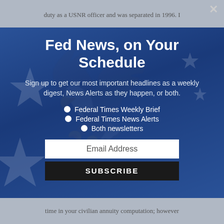duty as a USNR officer and was separated in 1996. I
Fed News, on Your Schedule
Sign up to get our most important headlines as a weekly digest, News Alerts as they happen, or both.
Federal Times Weekly Brief
Federal Times News Alerts
Both newsletters
Email Address
SUBSCRIBE
time in your civilian annuity computation; however